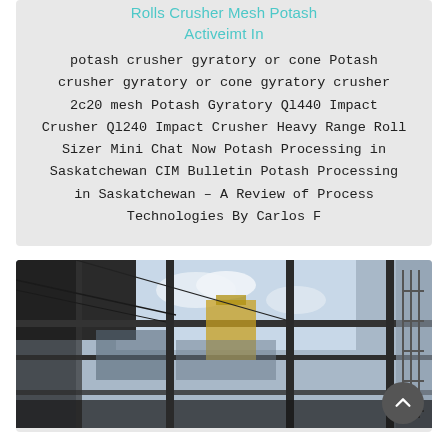Rolls Crusher Mesh Potash Activeimt In
potash crusher gyratory or cone Potash crusher gyratory or cone gyratory crusher 2c20 mesh Potash Gyratory Ql440 Impact Crusher Ql240 Impact Crusher Heavy Range Roll Sizer Mini Chat Now Potash Processing in Saskatchewan CIM Bulletin Potash Processing in Saskatchewan – A Review of Process Technologies By Carlos F
[Figure (photo): Industrial/construction site photograph showing steel framework structures, scaffolding, and machinery taken from inside a building looking outward. Sky with clouds visible through the open structural frame. Yellow equipment visible in the distance.]